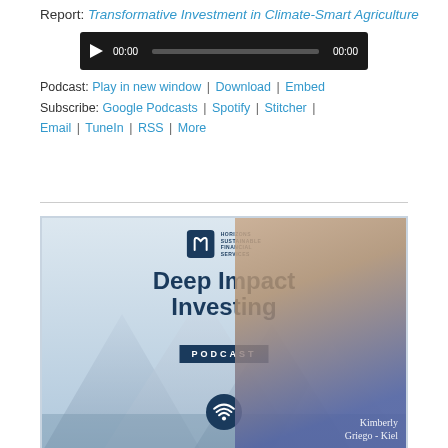Report: Transformative Investment in Climate-Smart Agriculture
[Figure (screenshot): Audio player widget with dark background, play button, progress bar, and time display showing 00:00]
Podcast: Play in new window | Download | Embed
Subscribe: Google Podcasts | Spotify | Stitcher | Email | TuneIn | RSS | More
[Figure (photo): Deep Impact Investing Podcast promotional image with Horizons Sustainable Financial Services logo, showing a woman with curly hair smiling, mountain background, wifi icon, and signature 'Kimberly Griego-Kiel']